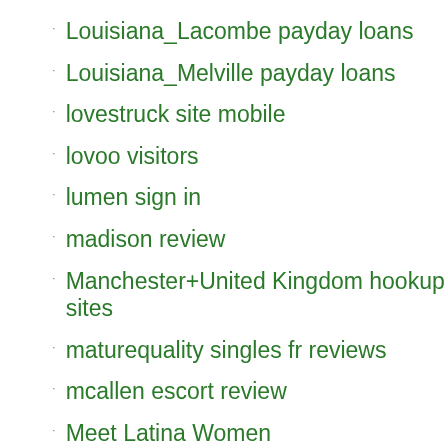Louisiana_Lacombe payday loans
Louisiana_Melville payday loans
lovestruck site mobile
lovoo visitors
lumen sign in
madison review
Manchester+United Kingdom hookup sites
maturequality singles fr reviews
mcallen escort review
Meet Latina Women
meetmindful sign in
Meetmindful visitors